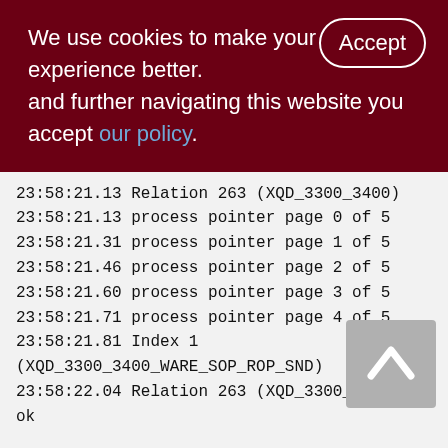We use cookies to make your experience better. By accepting and further navigating this website you accept our policy.
23:58:21.13 Relation 263 (XQD_3300_3400)
23:58:21.13 process pointer page 0 of 5
23:58:21.31 process pointer page 1 of 5
23:58:21.46 process pointer page 2 of 5
23:58:21.60 process pointer page 3 of 5
23:58:21.71 process pointer page 4 of 5
23:58:21.81 Index 1
(XQD_3300_3400_WARE_SOP_ROP_SND)
23:58:22.04 Relation 263 (XQD_3300_3400) is
ok

23:58:22.04 Relation 264 (XQS_1000_1200)